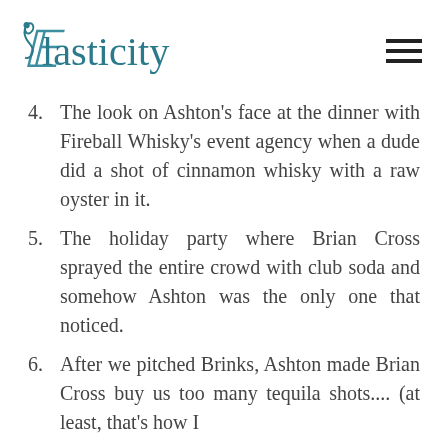Elasticity
4. The look on Ashton's face at the dinner with Fireball Whisky's event agency when a dude did a shot of cinnamon whisky with a raw oyster in it.
5. The holiday party where Brian Cross sprayed the entire crowd with club soda and somehow Ashton was the only one that noticed.
6. After we pitched Brinks, Ashton made Brian Cross buy us too many tequila shots.... (at least, that's how I